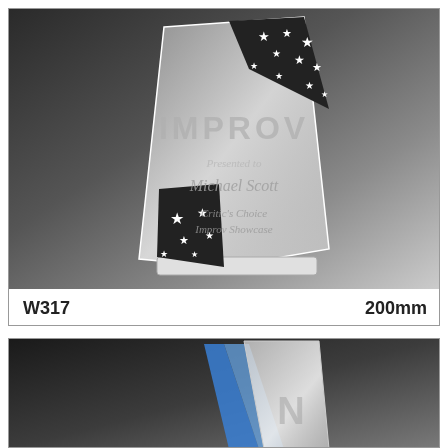[Figure (photo): Crystal/acrylic award trophy with dark star-pattern sections at top and bottom, shield/sail shape, engraved with IMPROV text and 'Presented to Michael Scott, Critic's Choice Improv Showcase']
W317
200mm
[Figure (photo): Partially visible crystal/acrylic award trophy with blue accent and silver/transparent body, dark background]